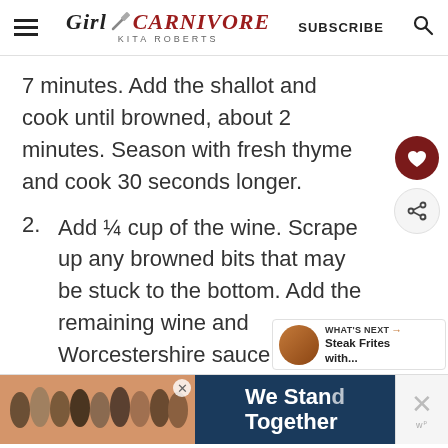GIRL CARNIVORE - KITA ROBERTS | SUBSCRIBE
7 minutes. Add the shallot and cook until browned, about 2 minutes. Season with fresh thyme and cook 30 seconds longer.
2. Add ¼ cup of the wine. Scrape up any browned bits that may be stuck to the bottom. Add the remaining wine and Worcestershire sauce, reduce heat, and simmer for 5 to 7
[Figure (other): Advertisement banner with group photo and 'We Stand Together' text]
[Figure (other): What's Next widget showing Steak Frites with... thumbnail]